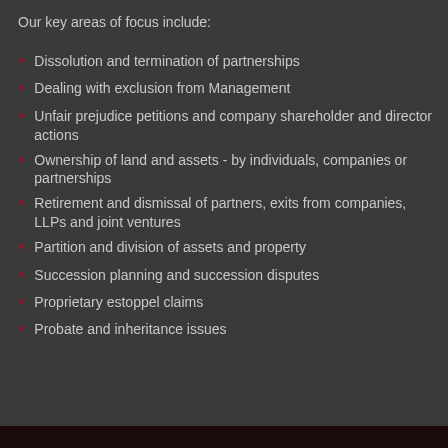Our key areas of focus include:
Dissolution and termination of partnerships
Dealing with exclusion from Management
Unfair prejudice petitions and company shareholder and director actions
Ownership of land and assets - by individuals, companies or partnerships
Retirement and dismissal of partners, exits from companies, LLPs and joint ventures
Partition and division of assets and property
Succession planning and succession disputes
Proprietary estoppel claims
Probate and inheritance issues